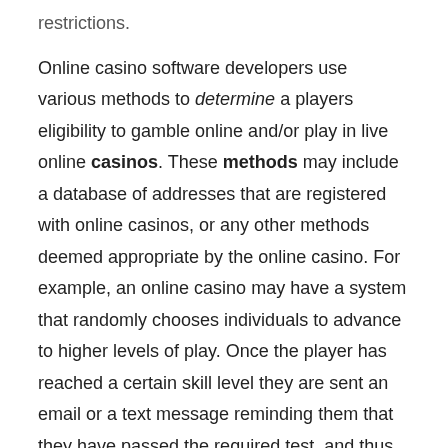restrictions.
Online casino software developers use various methods to determine a players eligibility to gamble online and/or play in live online casinos. These methods may include a database of addresses that are registered with online casinos, or any other methods deemed appropriate by the online casino. For example, an online casino may have a system that randomly chooses individuals to advance to higher levels of play. Once the player has reached a certain skill level they are sent an email or a text message reminding them that they have passed the required test, and thus qualified to participate in live online casino gaming.
However, even with these programs in place, there